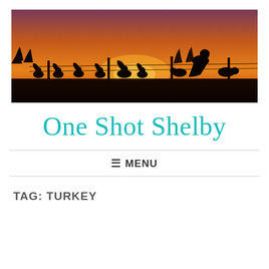[Figure (photo): A silhouette hunting scene at sunset/dusk showing a person in a cap with two dogs crouching behind a barbed wire fence, with a row of turkey silhouettes visible against an orange and purple sky backdrop.]
One Shot Shelby
☰ MENU
TAG: TURKEY